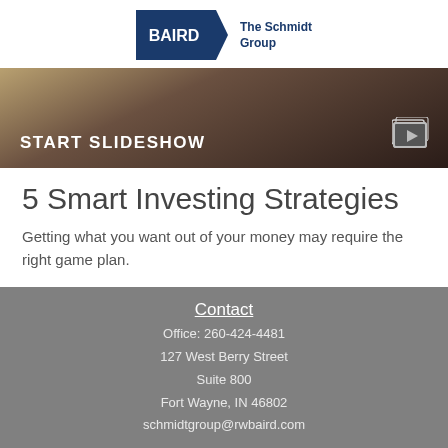[Figure (logo): Baird logo with 'The Schmidt Group' text]
[Figure (photo): Dark banner image with text START SLIDESHOW and a slideshow icon]
5 Smart Investing Strategies
Getting what you want out of your money may require the right game plan.
Contact
Office: 260-424-4481
127 West Berry Street
Suite 800
Fort Wayne, IN 46802
schmidtgroup@rwbaird.com